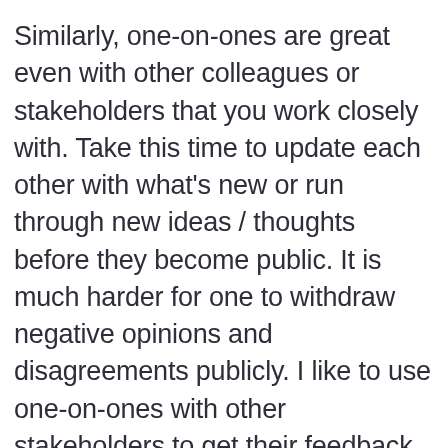Similarly, one-on-ones are great even with other colleagues or stakeholders that you work closely with. Take this time to update each other with what's new or run through new ideas / thoughts before they become public. It is much harder for one to withdraw negative opinions and disagreements publicly. I like to use one-on-ones with other stakeholders to get their feedback on new ideas and plans privately. You should already have buy-in from your stakeholders before you make a proposal public.
When working remote, a lot of the casual encounters you get in normal office life are